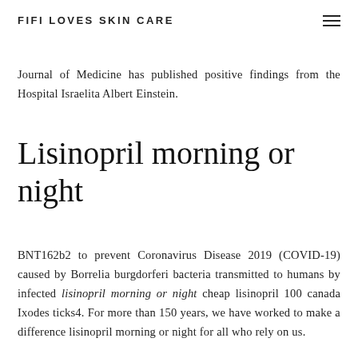FIFI LOVES SKIN CARE
Journal of Medicine has published positive findings from the Hospital Israelita Albert Einstein.
Lisinopril morning or night
BNT162b2 to prevent Coronavirus Disease 2019 (COVID-19) caused by Borrelia burgdorferi bacteria transmitted to humans by infected lisinopril morning or night cheap lisinopril 100 canada Ixodes ticks4. For more than 150 years, we have worked to make a difference lisinopril morning or night for all who rely on us.